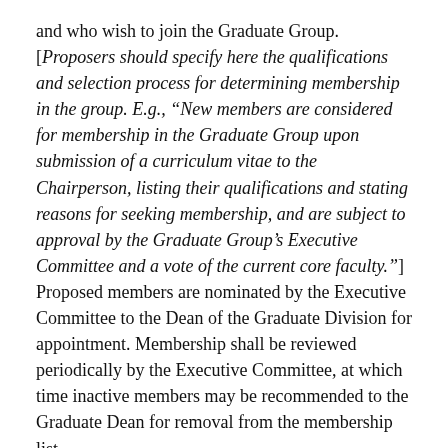and who wish to join the Graduate Group. [Proposers should specify here the qualifications and selection process for determining membership in the group. E.g., “New members are considered for membership in the Graduate Group upon submission of a curriculum vitae to the Chairperson, listing their qualifications and stating reasons for seeking membership, and are subject to approval by the Graduate Group’s Executive Committee and a vote of the current core faculty.”] Proposed members are nominated by the Executive Committee to the Dean of the Graduate Division for appointment. Membership shall be reviewed periodically by the Executive Committee, at which time inactive members may be recommended to the Graduate Dean for removal from the membership list.
ARTICLE 2: Executive Committee